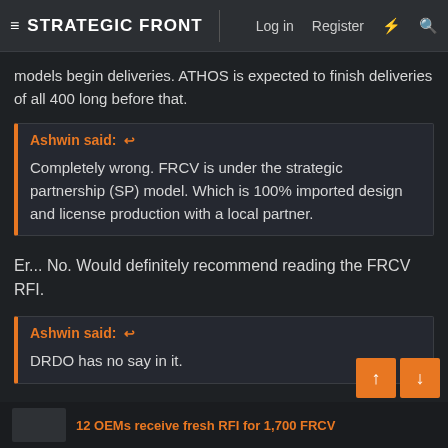Strategic Front — Log in  Register
models begin deliveries. ATHOS is expected to finish deliveries of all 400 long before that.
Ashwin said: ↩
Completely wrong. FRCV is under the strategic partnership (SP) model. Which is 100% imported design and license production with a local partner.
Er... No. Would definitely recommend reading the FRCV RFI.
Ashwin said: ↩
DRDO has no say in it.
12 OEMs receive fresh RFI for 1,700 FRCV